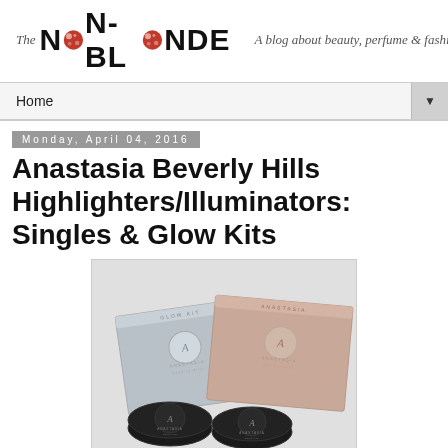[Figure (logo): The Non-Blonde blog logo with red decorative O letters]
A blog about beauty, perfume & fashion
Home
Monday, April 04, 2016
Anastasia Beverly Hills Highlighters/Illuminators: Singles & Glow Kits
[Figure (photo): Anastasia Beverly Hills product photo showing two Glow Kit palettes (silver and rose gold) and two single highlighter compacts in black packaging]